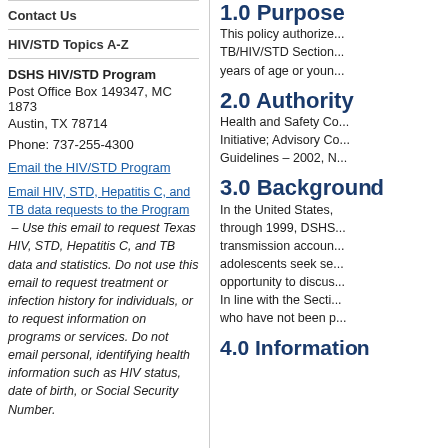Contact Us
HIV/STD Topics A-Z
DSHS HIV/STD Program
Post Office Box 149347, MC 1873
Austin, TX 78714
Phone: 737-255-4300
Email the HIV/STD Program
Email HIV, STD, Hepatitis C, and TB data requests to the Program – Use this email to request Texas HIV, STD, Hepatitis C, and TB data and statistics. Do not use this email to request treatment or infection history for individuals, or to request information on programs or services. Do not email personal, identifying health information such as HIV status, date of birth, or Social Security Number.
1.0 Purpose
This policy authorize... TB/HIV/STD Section... years of age or youn...
2.0 Authority
Health and Safety Co... Initiative; Advisory Co... Guidelines – 2002, N...
3.0 Background
In the United States, through 1999, DSHS... transmission accoun... adolescents seek se... opportunity to discus... In line with the Secti... who have not been p...
4.0 Information